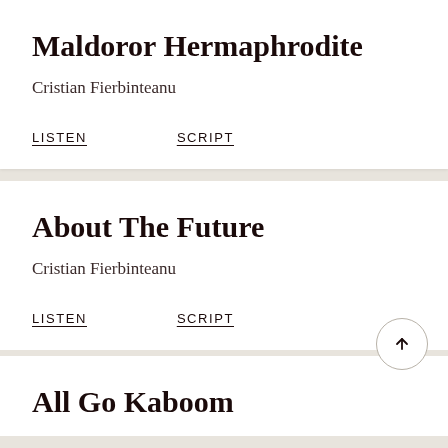Maldoror Hermaphrodite
Cristian Fierbinteanu
LISTEN
SCRIPT
About The Future
Cristian Fierbinteanu
LISTEN
SCRIPT
All Go Kaboom